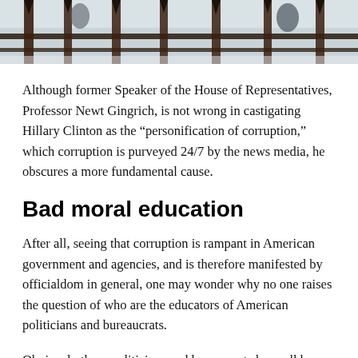[Figure (photo): Outdoor photo showing wooden fence rails or deck structure with dark metal fixtures, partially obscured by snow or winter conditions, with figures visible in the background.]
Although former Speaker of the House of Representatives, Professor Newt Gingrich, is not wrong in castigating Hillary Clinton as the “personification of corruption,” which corruption is purveyed 24/7 by the news media, he obscures a more fundamental cause.
Bad moral education
After all, seeing that corruption is rampant in American government and agencies, and is therefore manifested by officialdom in general, one may wonder why no one raises the question of who are the educators of American politicians and bureaucrats.
Obviously these politicians and bureaucrats have all been